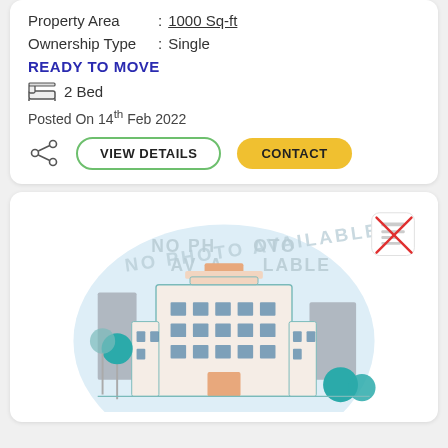Property Area : 1000 Sq-ft
Ownership Type : Single
READY TO MOVE
2 Bed
Posted On 14th Feb 2022
VIEW DETAILS
CONTACT
[Figure (illustration): Real estate listing card showing a placeholder illustration of an apartment building with text 'NO PHOTO AVAILABLE' watermark, teal trees, and a document icon with red X in the top right corner.]